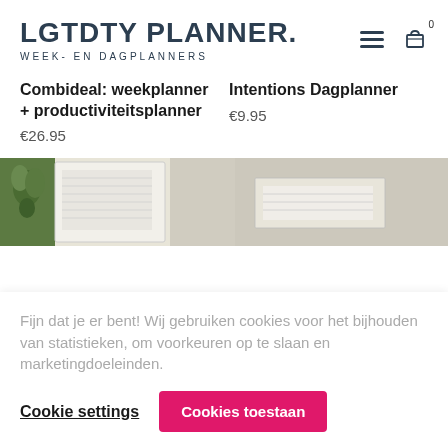LGTDTY PLANNER. WEEK- EN DAGPLANNERS
Combideal: weekplanner + productiviteitsplanner
€26.95
Intentions Dagplanner
€9.95
[Figure (photo): Product image showing a notebook/planner with a plant on the left side, light beige background]
[Figure (photo): Product image showing a planner in a light gray/beige setting]
Fijn dat je er bent! Wij gebruiken cookies voor het bijhouden van statistieken, om voorkeuren op te slaan en marketingdoeleinden.
Cookie settings
Cookies toestaan